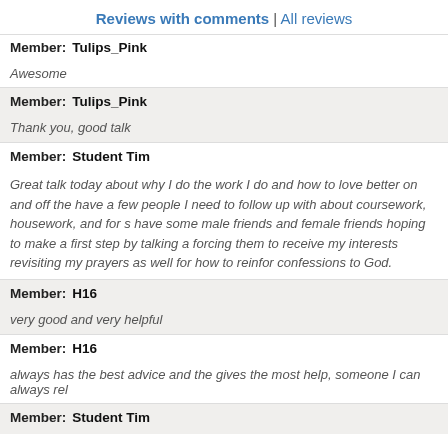Reviews with comments | All reviews
Member: Tulips_Pink
Awesome
Member: Tulips_Pink
Thank you, good talk
Member: Student Tim
Great talk today about why I do the work I do and how to love better on and off the have a few people I need to follow up with about coursework, housework, and for s have some male friends and female friends hoping to make a first step by talking a forcing them to receive my interests revisiting my prayers as well for how to reinfor confessions to God.
Member: H16
very good and very helpful
Member: H16
always has the best advice and the gives the most help, someone I can always rel
Member: Student Tim